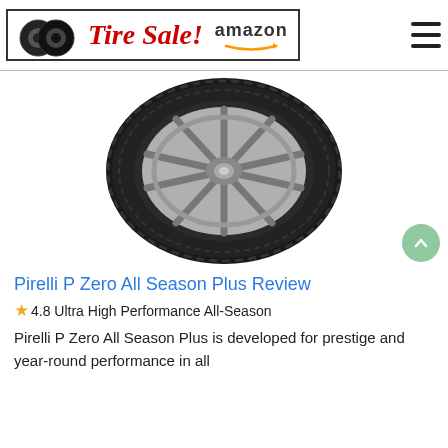Tire Sale! amazon
[Figure (photo): Pirelli P Zero All Season Plus tire on a multi-spoke chrome/silver alloy wheel, photographed on a white background at a slight angle.]
Pirelli P Zero All Season Plus Review
★4.8 Ultra High Performance All-Season
Pirelli P Zero All Season Plus is developed for prestige and year-round performance in all